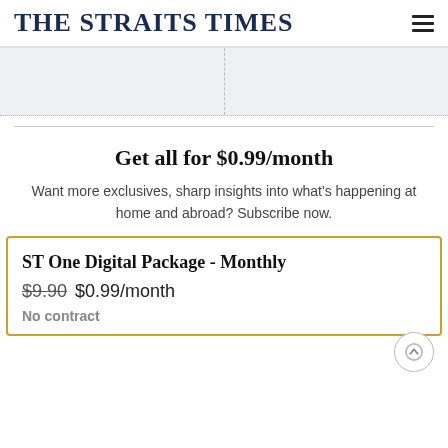THE STRAITS TIMES
Get all for $0.99/month
Want more exclusives, sharp insights into what's happening at home and abroad? Subscribe now.
ST One Digital Package - Monthly
$9.90 $0.99/month
No contract